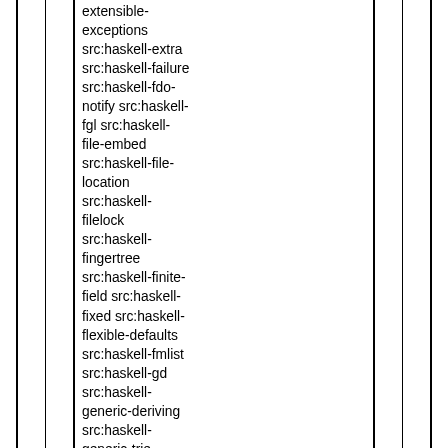extensible-exceptions src:haskell-extra src:haskell-failure src:haskell-fdo-notify src:haskell-fgl src:haskell-file-embed src:haskell-file-location src:haskell-filelock src:haskell-fingertree src:haskell-finite-field src:haskell-fixed src:haskell-flexible-defaults src:haskell-fmlist src:haskell-gd src:haskell-generic-deriving src:haskell-generic-trie src:haskell-generics-sop